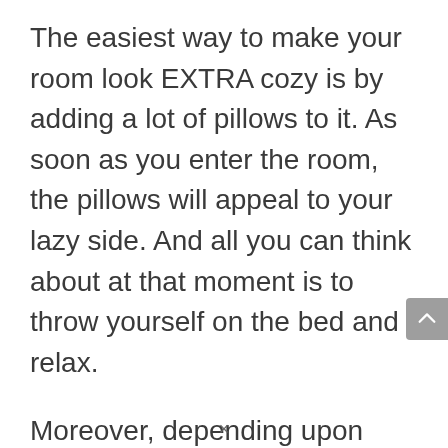The easiest way to make your room look EXTRA cozy is by adding a lot of pillows to it. As soon as you enter the room, the pillows will appeal to your lazy side. And all you can think about at that moment is to throw yourself on the bed and relax.
Moreover, depending upon your sleeping position, extra pillows will give